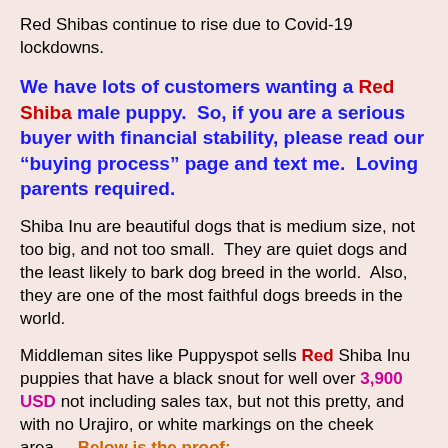Red Shibas continue to rise due to Covid-19 lockdowns.
We have lots of customers wanting a Red Shiba male puppy.  So, if you are a serious buyer with financial stability, please read our “buying process” page and text me.  Loving parents required.
Shiba Inu are beautiful dogs that is medium size, not too big, and not too small.  They are quiet dogs and the least likely to bark dog breed in the world.  Also, they are one of the most faithful dogs breeds in the world.
Middleman sites like Puppyspot sells Red Shiba Inu puppies that have a black snout for well over 3,900 USD not including sales tax, but not this pretty, and with no Urajiro, or white markings on the cheek area..  Below is the proof: https://www.puppyspot.com/puppies-for-